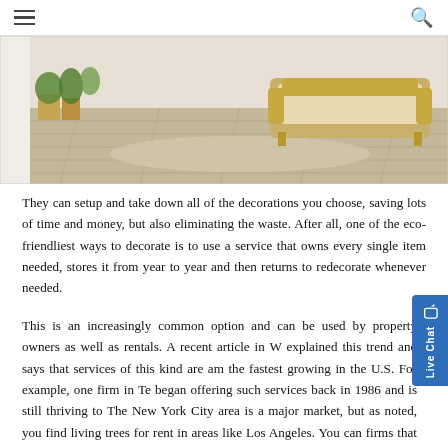Navigation menu and search icon
[Figure (photo): Interior room scene showing light wood flooring, a beige ornate sofa/bench with gold frame, decorative plants, wooden crates, and a light rug on the floor]
They can setup and take down all of the decorations you choose, saving lots of time and money, but also eliminating the waste. After all, one of the eco-friendliest ways to decorate is to use a service that owns every single item needed, stores it from year to year and then returns to redecorate whenever needed.
This is an increasingly common option and can be used by property owners as well as rentals. A recent article in W explained this trend and says that services of this kind are among the fastest growing in the U.S. For example, one firm in Te began offering such services back in 1986 and is still thriving to The New York City area is a major market, but as noted, you find living trees for rent in areas like Los Angeles. You can firms that set up a Santa's Village and others who emphasize outdoor displays.